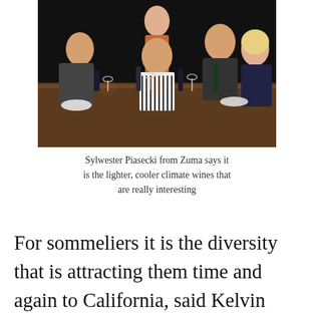[Figure (photo): A group of people sitting around a long wooden dining table in a dark restaurant setting, engaged in conversation. Wine glasses, bottles, and plates are visible on the table.]
Sylwester Piasecki from Zuma says it is the lighter, cooler climate wines that are really interesting
For sommeliers it is the diversity that is attracting them time and again to California, said Kelvin McCabe, head sommelier at Adam Handling